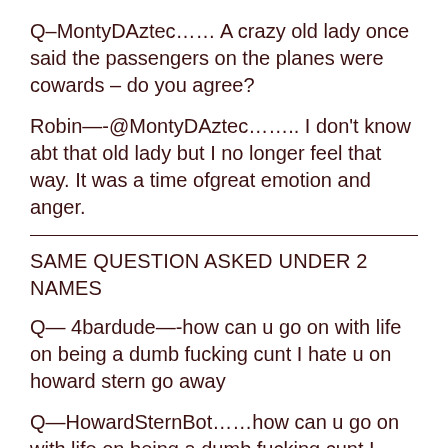Q–MontyDAztec…… A crazy old lady once said the passengers on the planes were cowards – do you agree?
Robin—-@MontyDAztec…….. I don't know abt that old lady but I no longer feel that way. It was a time ofgreat emotion and anger.
SAME QUESTION ASKED UNDER 2 NAMES
Q— 4bardude—-how can u go on with life on being a dumb fucking cunt I hate u on howard stern go away
Q—HowardSternBot……how can u go on with life on being a dumb fucking cunt I hate u on howard stern go away